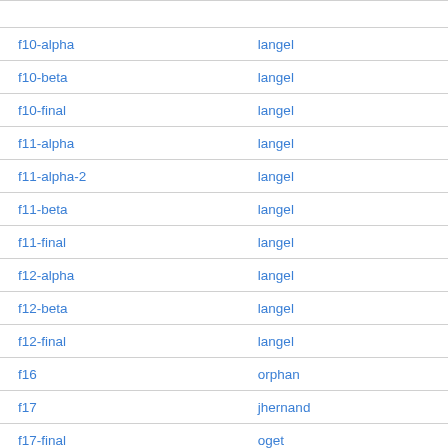| name | owner |
| --- | --- |
| f10-alpha | langel |
| f10-beta | langel |
| f10-final | langel |
| f11-alpha | langel |
| f11-alpha-2 | langel |
| f11-beta | langel |
| f11-final | langel |
| f12-alpha | langel |
| f12-beta | langel |
| f12-final | langel |
| f16 | orphan |
| f17 | jhernand |
| f17-final | oget |
| f18 | mbooth |
| f18-Alpha | oget |
| f18-Beta | oget |
| f18-final | oget |
| f21-beta | mbooth |
| f22 | gil |